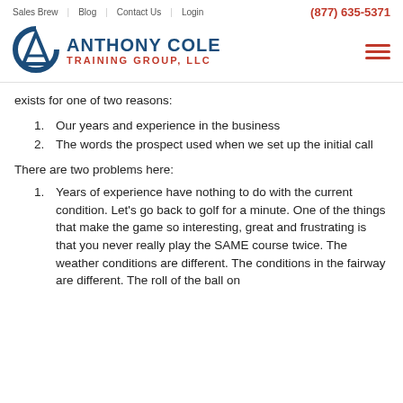Sales Brew   Blog   Contact Us   Login   (877) 635-5371
[Figure (logo): Anthony Cole Training Group, LLC logo with stylized 'A' and 'C' monogram in blue and red]
exists for one of two reasons:
Our years and experience in the business
The words the prospect used when we set up the initial call
There are two problems here:
Years of experience have nothing to do with the current condition. Let's go back to golf for a minute. One of the things that make the game so interesting, great and frustrating is that you never really play the SAME course twice. The weather conditions are different. The conditions in the fairway are different. The roll of the ball on